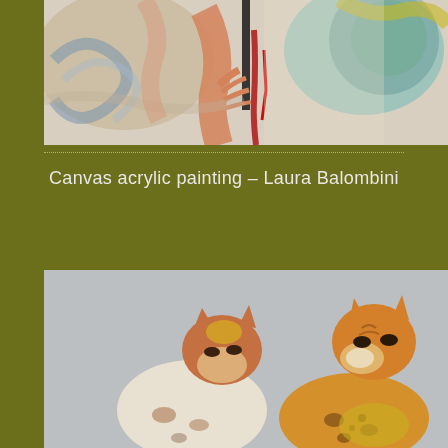[Figure (photo): Close-up of a colorful abstract acrylic painting on canvas, showing swirling brushstrokes in red, orange, blue, white, and green, with a hand visible in the center.]
Canvas acrylic painting – Laura Balombini
[Figure (photo): Two ceramic cat figurines facing each other, with spotted brown, white, and tan glazed surfaces, photographed against a light gray background.]